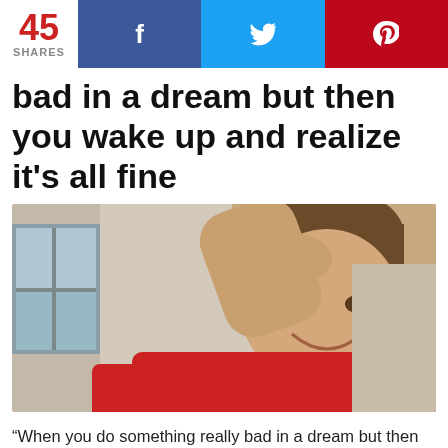45 SHARES | f | y | p
bad in a dream but then you wake up and realize it’s all fine
[Figure (photo): A smiling young man in a red t-shirt with his hand raised to his forehead, appearing relieved, standing in a room with a window visible in the background.]
“When you do something really bad in a dream but then you wake up and realize it’s all fine.”